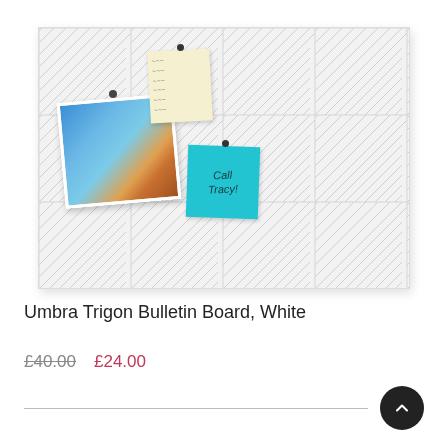[Figure (photo): Umbra Trigon Bulletin Board in white with a geometric triangle line pattern. A photo of a city aerial view, a yellow sticky note, and a blue sticky note reading 'Call Tracy!' are pinned to the board with black pins.]
Umbra Trigon Bulletin Board, White
£40.00  £24.00